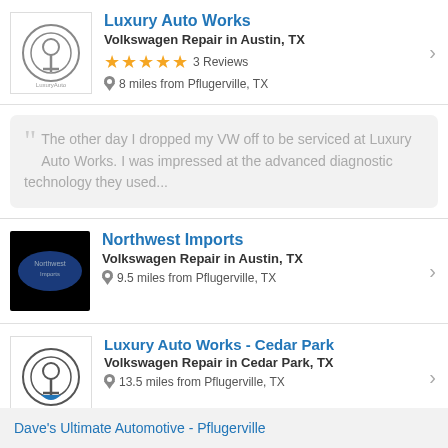Luxury Auto Works
Volkswagen Repair in Austin, TX
★★★★★ 3 Reviews
8 miles from Pflugerville, TX
The other day I dropped my VW off to be serviced at Luxury Auto Works. I was impressed at the advanced diagnostic technology they used...
Northwest Imports
Volkswagen Repair in Austin, TX
9.5 miles from Pflugerville, TX
Luxury Auto Works - Cedar Park
Volkswagen Repair in Cedar Park, TX
13.5 miles from Pflugerville, TX
Dave's Ultimate Automotive - Pflugerville